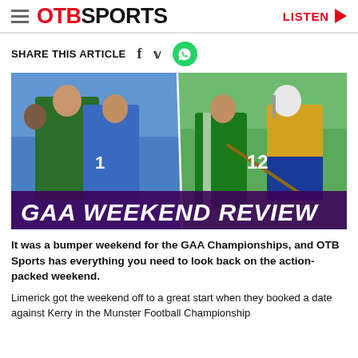OTB SPORTS   LISTEN
SHARE THIS ARTICLE
[Figure (photo): Two split sports action photos: left shows GAA football players in blue and green jerseys in a confrontation; right shows hurling players in green/white and yellow/blue jerseys competing. Large italic white text overlay reads 'GAA WEEKEND REVIEW' on a dark purple banner at the bottom.]
It was a bumper weekend for the GAA Championships, and OTB Sports has everything you need to look back on the action-packed weekend.
Limerick got the weekend off to a great start when they booked a date against Kerry in the Munster Football Championship